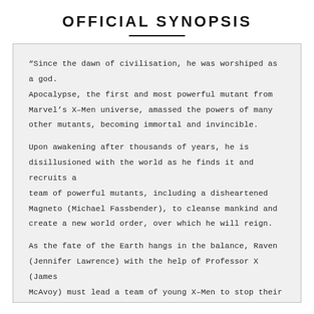OFFICIAL SYNOPSIS
“Since the dawn of civilisation, he was worshiped as a god. Apocalypse, the first and most powerful mutant from Marvel’s X–Men universe, amassed the powers of many other mutants, becoming immortal and invincible.

Upon awakening after thousands of years, he is disillusioned with the world as he finds it and recruits a team of powerful mutants, including a disheartened Magneto (Michael Fassbender), to cleanse mankind and create a new world order, over which he will reign.

As the fate of the Earth hangs in the balance, Raven (Jennifer Lawrence) with the help of Professor X (James McAvoy) must lead a team of young X–Men to stop their